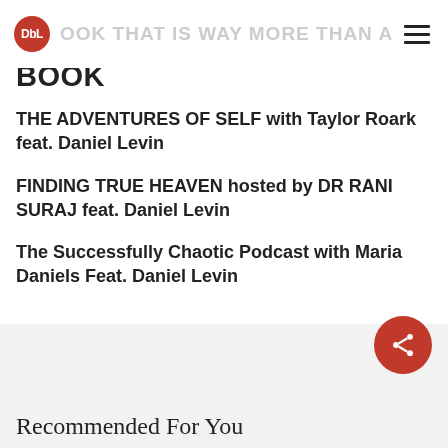DbL — BOOK THAT IS WAY MORE THAN A BOOK
BOOK
THE ADVENTURES OF SELF with Taylor Roark feat. Daniel Levin
FINDING TRUE HEAVEN hosted by DR RANI SURAJ feat. Daniel Levin
The Successfully Chaotic Podcast with Maria Daniels Feat. Daniel Levin
Recommended For You